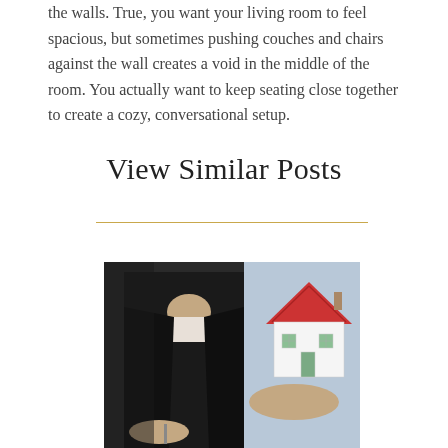the walls. True, you want your living room to feel spacious, but sometimes pushing couches and chairs against the wall creates a void in the middle of the room. You actually want to keep seating close together to create a cozy, conversational setup.
View Similar Posts
[Figure (photo): A person in a black blazer holding a small model house with a red roof, with another person in the foreground holding a pen, suggesting a real estate or home-buying consultation.]